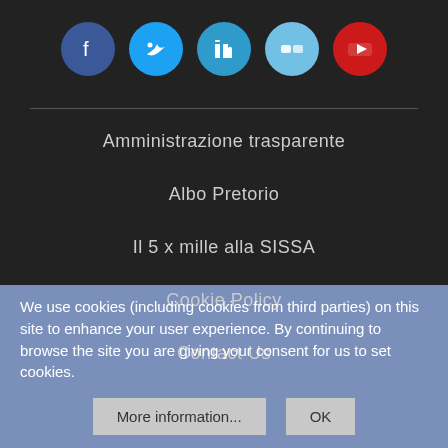[Figure (other): Social media icons row: Facebook (blue circle), Twitter (light blue circle), LinkedIn (blue circle), Flickr (light blue circle), YouTube (red circle)]
Amministrazione trasparente
Albo Pretorio
Il 5 x mille alla SISSA
Cookie Policy
Contact Us
We use cookies (including cookies from third parties) on this site to enhance your user experience. By continuing to browse the site you are giving your consent for us to set cookies.
More information...   OK